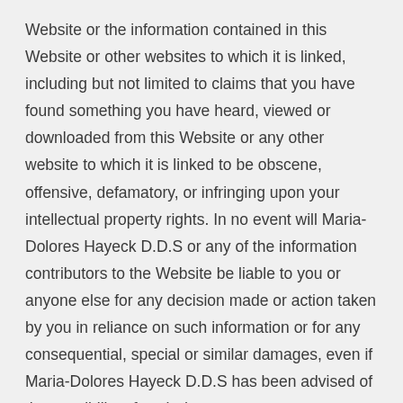Website or the information contained in this Website or other websites to which it is linked, including but not limited to claims that you have found something you have heard, viewed or downloaded from this Website or any other website to which it is linked to be obscene, offensive, defamatory, or infringing upon your intellectual property rights. In no event will Maria-Dolores Hayeck D.D.S or any of the information contributors to the Website be liable to you or anyone else for any decision made or action taken by you in reliance on such information or for any consequential, special or similar damages, even if Maria-Dolores Hayeck D.D.S has been advised of the possibility of such damages.
4. You acknowledge that the opinions and recommendations contained in this Website are not necessarily those of Maria-Dolores Hayeck D.D.S nor are they endorsed by